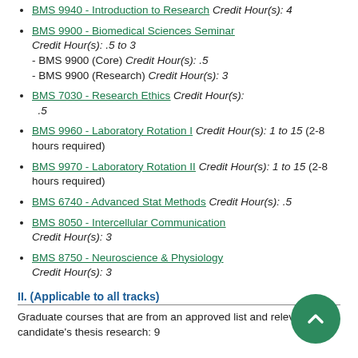BMS 9940 - Introduction to Research Credit Hour(s): 4
BMS 9900 - Biomedical Sciences Seminar Credit Hour(s): .5 to 3 - BMS 9900 (Core) Credit Hour(s): .5 - BMS 9900 (Research) Credit Hour(s): 3
BMS 7030 - Research Ethics Credit Hour(s): .5
BMS 9960 - Laboratory Rotation I Credit Hour(s): 1 to 15 (2-8 hours required)
BMS 9970 - Laboratory Rotation II Credit Hour(s): 1 to 15 (2-8 hours required)
BMS 6740 - Advanced Stat Methods Credit Hour(s): .5
BMS 8050 - Intercellular Communication Credit Hour(s): 3
BMS 8750 - Neuroscience & Physiology Credit Hour(s): 3
II. (Applicable to all tracks)
Graduate courses that are from an approved list and relevant to candidate's thesis research: 9